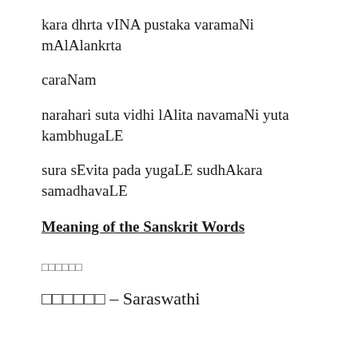kara dhrta vINA pustaka varamaNi mAlAlankrta
caraNam
narahari suta vidhi lAlita navamaNi yuta kambhugaLE
sura sEvita pada yugaLE sudhAkara samadhavaLE
Meaning of the Sanskrit Words
□□□□□□
□□□□□□ – Saraswathi